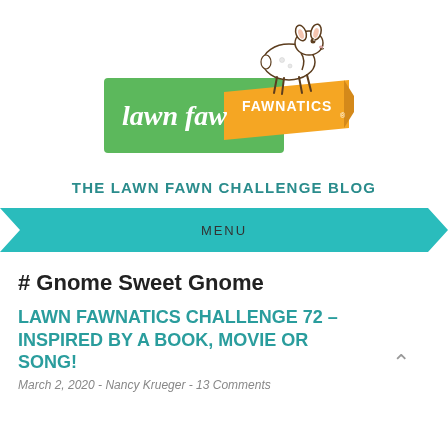[Figure (logo): Lawn Fawnatics logo: green rectangle with cursive 'lawn fawn' text, orange banner with 'FAWNATICS' text, and a cartoon deer/fawn illustration above]
THE LAWN FAWN CHALLENGE BLOG
MENU
# Gnome Sweet Gnome
LAWN FAWNATICS CHALLENGE 72 – INSPIRED BY A BOOK, MOVIE OR SONG!
March 2, 2020 - Nancy Krueger - 13 Comments